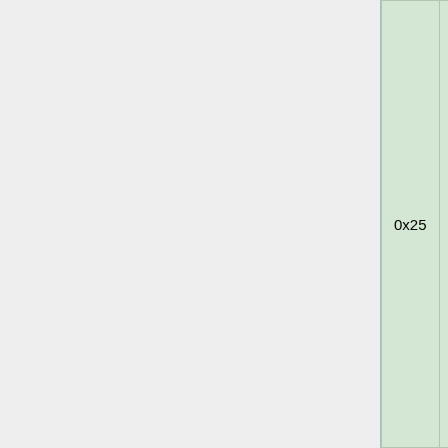|  | Packet ID | State | Bound To | Field Name | Field Type |
| --- | --- | --- | --- | --- | --- |
|  |  |  |  |  | enum |
|  |  |  |  | Name | String |
|  |  |  |  | Offset X | Int By |
|  |  |  |  | Offset Y | Int By |
|  |  |  |  | Offset Z | Int By |
|  |  |  |  | Size X | Int By |
|  |  |  |  | Size Y | Int By |
|  |  |  |  | Size Z | Int By |
|  | 0x25 | Play | Server | Mirror | String / VarInt / enum |
|  |  |  |  | Rotation | String / VarInt / enum |
|  |  |  |  | Metadata | String |